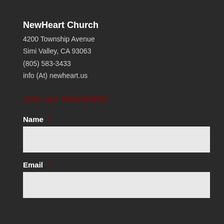NewHeart Church
4200 Township Avenue
Simi Valley, CA 93063
(805) 583-3433
info (At) newheart.us
Join our Newsletter
Name *
[Figure (other): Text input field for Name]
Email *
[Figure (other): Text input field for Email]